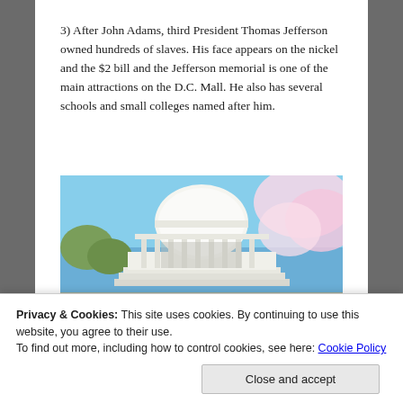3) After John Adams, third President Thomas Jefferson owned hundreds of slaves. His face appears on the nickel and the $2 bill and the Jefferson memorial is one of the main attractions on the D.C. Mall. He also has several schools and small colleges named after him.
[Figure (photo): Photograph of the Jefferson Memorial with white dome and columns, blue sky, and cherry blossom trees in foreground]
Privacy & Cookies: This site uses cookies. By continuing to use this website, you agree to their use.
To find out more, including how to control cookies, see here: Cookie Policy